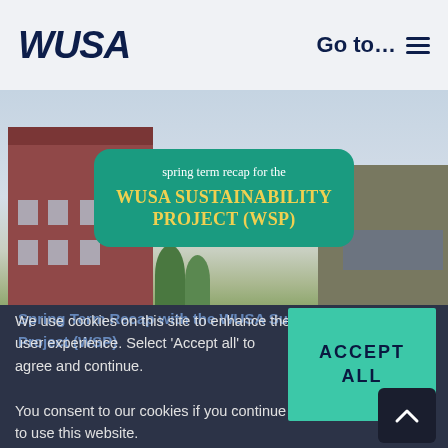WUSA | Go to... ☰
[Figure (screenshot): Hero image of WUSA Sustainability Project spring term recap. Green rounded rectangle card with text 'spring term recap for the WUSA SUSTAINABILITY PROJECT (WSP)' over a background showing a university campus building with a light blue sky.]
We use cookies on this site to enhance the user experience. Select 'Accept all' to agree and continue. You consent to our cookies if you continue to use this website.
Spring Term Recap with the WUSA Sustainability Project (WSP)
ACCEPT ALL